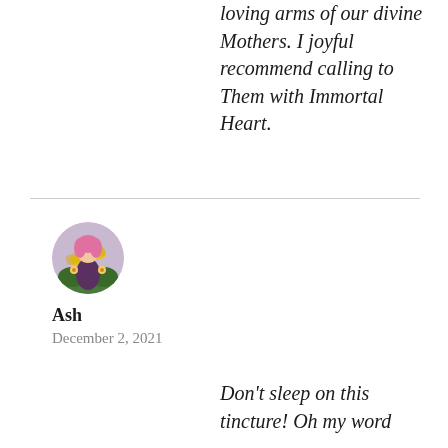loving arms of our divine Mothers. I joyful recommend calling to Them with Immortal Heart.
[Figure (illustration): Circular avatar image of user Ash showing an illustrated character with pink hair and yellow sash on a colorful background]
Ash
December 2, 2021
Don't sleep on this tincture! Oh my word